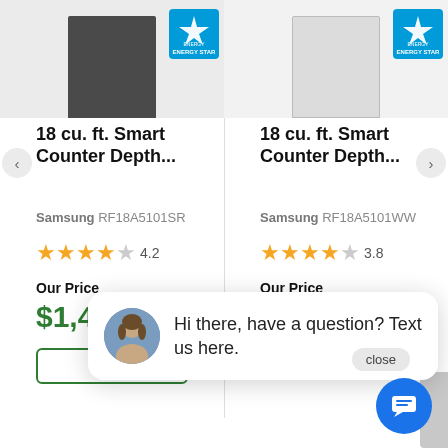[Figure (screenshot): Screenshot of an e-commerce product comparison page showing two Samsung 18 cu. ft. Smart Counter Depth refrigerators side by side, with product images, ENERGY STAR badges, star ratings, prices, and a chat popup overlay.]
18 cu. ft. Smart Counter Depth...
Samsung RF18A5101SR
4.2
Our Price
$1,425.96
18 cu. ft. Smart Counter Depth...
Samsung RF18A5101WW
3.8
Our Price
$1,425.96
See De
close
Hi there, have a question? Text us here.